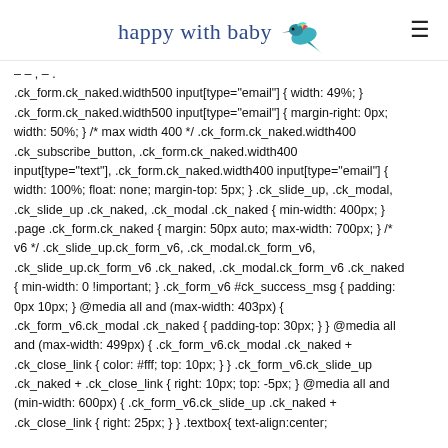happy with baby [logo with hummingbird]
.ck_form.ck_naked.width500 input[type="email"] { width: 49%; } .ck_form.ck_naked.width500 input[type="email"] { margin-right: 0px; width: 50%; } /* max width 400 */ .ck_form.ck_naked.width400 .ck_subscribe_button, .ck_form.ck_naked.width400 input[type="text"], .ck_form.ck_naked.width400 input[type="email"] { width: 100%; float: none; margin-top: 5px; } .ck_slide_up, .ck_modal, .ck_slide_up .ck_naked, .ck_modal .ck_naked { min-width: 400px; } .page .ck_form.ck_naked { margin: 50px auto; max-width: 700px; } /* v6 */ .ck_slide_up.ck_form_v6, .ck_modal.ck_form_v6, .ck_slide_up.ck_form_v6 .ck_naked, .ck_modal.ck_form_v6 .ck_naked { min-width: 0 !important; } .ck_form_v6 #ck_success_msg { padding: 0px 10px; } @media all and (max-width: 403px) { .ck_form_v6.ck_modal .ck_naked { padding-top: 30px; } } @media all and (max-width: 499px) { .ck_form_v6.ck_modal .ck_naked + .ck_close_link { color: #fff; top: 10px; } } .ck_form_v6.ck_slide_up .ck_naked + .ck_close_link { right: 10px; top: -5px; } @media all and (min-width: 600px) { .ck_form_v6.ck_slide_up .ck_naked + .ck_close_link { right: 25px; } } .textbox{ text-align:center;